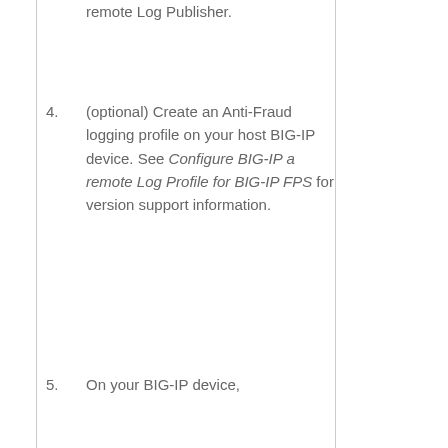remote Log Publisher.
(optional) Create an Anti-Fraud logging profile on your host BIG-IP device. See Configure BIG-IP a remote Log Profile for BIG-IP FPS for version support information.
On your BIG-IP device,